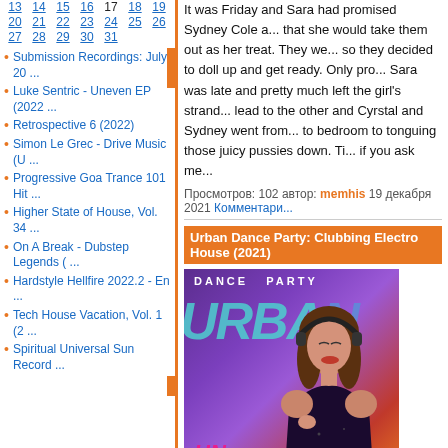13 14 15 16 17 18 19
20 21 22 23 24 25 26
27 28 29 30 31
Submission Recordings: July 20 ...
Luke Sentric - Uneven EP (2022 ...
Retrospective 6 (2022)
Simon Le Grec - Drive Music (U ...
Progressive Goa Trance 101 Hit ...
Higher State of House, Vol. 34 ...
On A Break - Dubstep Legends ( ...
Hardstyle Hellfire 2022.2 - En ...
Tech House Vacation, Vol. 1 (2 ...
Spiritual Universal Sun Record ...
It was Friday and Sara had promised Sydney Cole a... that she would take them out as her treat. They we... so they decided to doll up and get ready. Only pro... Sara was late and pretty much left the girl's strand... lead to the other and Cyrstal and Sydney went from... to bedroom to tonguing those juicy pussies down. Ti... if you ask me...
Просмотров: 102 автор: memhis 19 декабря 2021 Комментари...
Urban Dance Party: Clubbing Electro House (2021)
[Figure (illustration): Album cover for Urban Dance Party: Clubbing Electro House. Purple/teal background with large teal 'URBAN' text, woman with headphones, HN logo (Happy Nation Music Radio).]